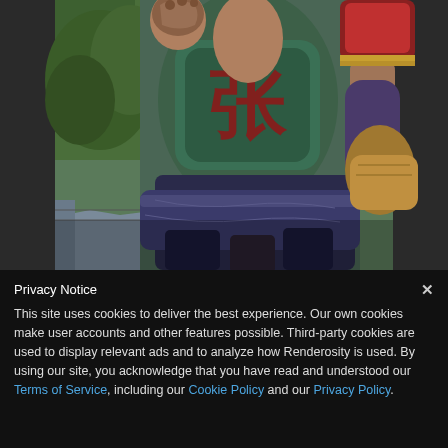[Figure (illustration): Close-up of a muscular warrior character wearing dark teal armor with Chinese characters, wrapped cloth belt, and ornate shoulder/arm guards. Background shows trees and traditional architecture. Dark gray borders on left and right sides.]
Privacy Notice
This site uses cookies to deliver the best experience. Our own cookies make user accounts and other features possible. Third-party cookies are used to display relevant ads and to analyze how Renderosity is used. By using our site, you acknowledge that you have read and understood our Terms of Service, including our Cookie Policy and our Privacy Policy.